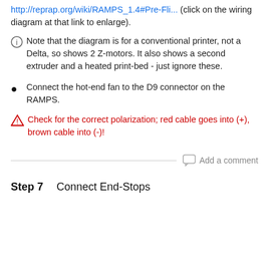http://reprap.org/wiki/RAMPS_1.4#Pre-Fli... (click on the wiring diagram at that link to enlarge).
Note that the diagram is for a conventional printer, not a Delta, so shows 2 Z-motors. It also shows a second extruder and a heated print-bed - just ignore these.
Connect the hot-end fan to the D9 connector on the RAMPS.
Check for the correct polarization; red cable goes into (+), brown cable into (-)!
Add a comment
Step 7    Connect End-Stops